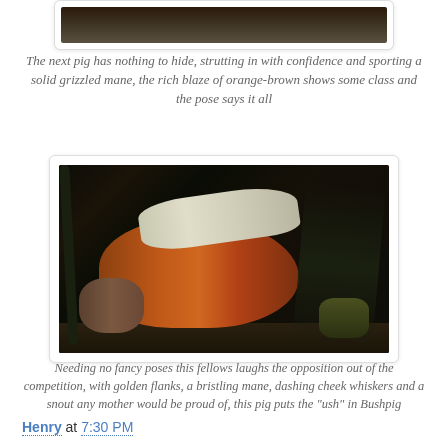[Figure (photo): Top portion of a wildlife photo showing a pig/bushpig in natural bush setting, partially cropped at top of page]
The next pig has nothing to hide, strutting in with confidence and sporting a solid grizzled mane, the rich blaze of orange-brown shows some class and the pose says it all
[Figure (photo): A bushpig with golden/orange-brown flanks and a bristling grizzled mane, snout pointing downward, standing in natural bush vegetation with dark background]
Needing no fancy poses this fellows laughs the opposition out of the competition, with golden flanks, a bristling mane, dashing cheek whiskers and a snout any mother would be proud of, this pig puts the "ush" in Bushpig
Henry at 7:30 PM